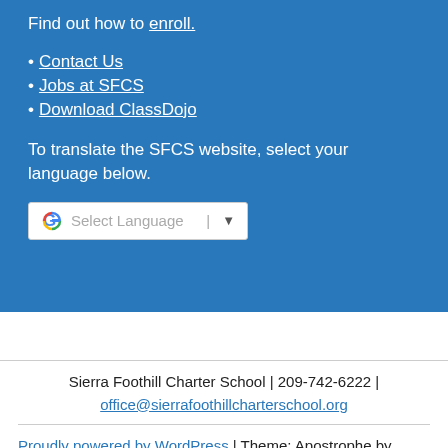Find out how to enroll.
Contact Us
Jobs at SFCS
Download ClassDojo
To translate the SFCS website, select your language below.
[Figure (screenshot): Google Translate widget with 'Select Language' dropdown and down arrow]
Sierra Foothill Charter School | 209-742-6222 | office@sierrafoothillcharterschool.org
Proudly powered by WordPress | Theme: Apostrophe by